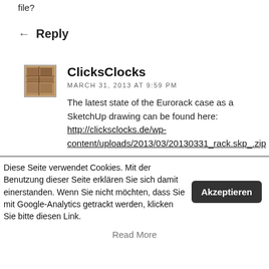file?
← Reply
ClicksClocks
MARCH 31, 2013 AT 9:59 PM
The latest state of the Eurorack case as a SketchUp drawing can be found here: http://clicksclocks.de/wp-content/uploads/2013/03/20130331_rack.skp_.zip
Diese Seite verwendet Cookies. Mit der Benutzung dieser Seite erklären Sie sich damit einerstanden. Wenn Sie nicht möchten, dass Sie mit Google-Analytics getrackt werden, klicken Sie bitte diesen Link.
Akzeptieren
Read More